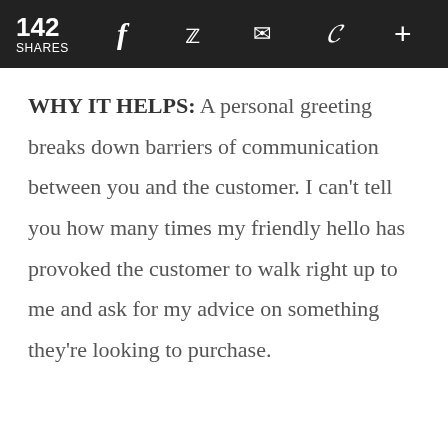142 SHARES
WHY IT HELPS: A personal greeting breaks down barriers of communication between you and the customer. I can't tell you how many times my friendly hello has provoked the customer to walk right up to me and ask for my advice on something they're looking to purchase.